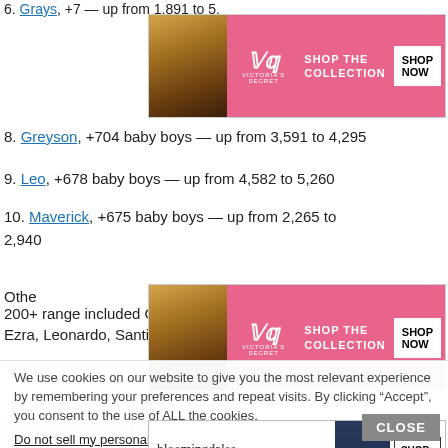7. [partial/obscured by ad] — up from ... to 4,859...
[Figure (photo): Victoria's Secret advertisement banner with woman's face, pink background, VS logo, 'SHOP THE COLLECTION' text, 'SHOP NOW' button]
8. Greyson, +704 baby boys — up from 3,591 to 4,295
9. Leo, +678 baby boys — up from 4,582 to 5,260
10. Maverick, +675 baby boys — up from 2,265 to 2,940
[Figure (photo): Victoria's Secret advertisement banner with woman's face, pink background, VS logo, 'SHOP THE COLLECTION' text, 'SHOP NOW' button]
Other names that gained the most in the 200+ range included Owen, Sebastian, Ezekiel, Lucas, Ezra, Leonardo, Santiago, Conor, Gael, Everett, Rhett.
We use cookies on our website to give you the most relevant experience by remembering your preferences and repeat visits. By clicking “Accept”, you consent to the use of ALL the cookies.
Do not sell my personal information.
[Figure (photo): Bloomingdale's advertisement banner: logo text, 'View Today's Top Deals!', woman with blue hat, 'SHOP NOW >' button. CLOSE button visible.]